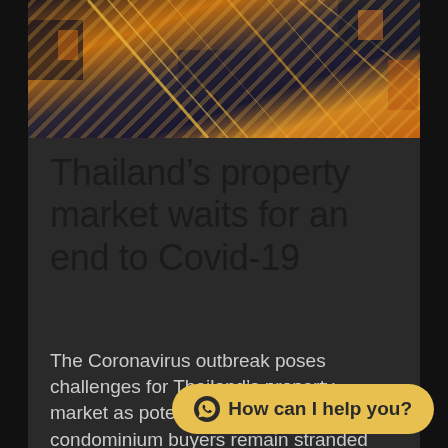[Figure (photo): Aerial night-time view of city infrastructure, roads and buildings with warm orange and yellow lights, diagonal streaks of light]
Thailand’s property market waits for an end to Covid-19
The Coronavirus outbreak poses challenges for Thailand’s property market as potential Chinese condominium buyers remain stranded in China. Meanwh[ile] the outbreak may bring